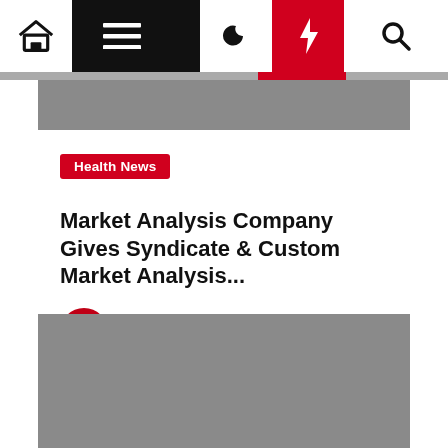Navigation bar with home, menu, moon, lightning, search icons
[Figure (photo): Gray rectangular image placeholder at top of article]
Health News
Market Analysis Company Gives Syndicate & Custom Market Analysis...
irisbahr  3 years ago
[Figure (photo): Gray rectangular image placeholder at bottom of page]